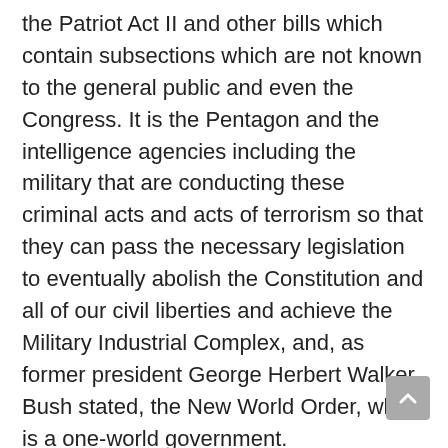the Patriot Act II and other bills which contain subsections which are not known to the general public and even the Congress. It is the Pentagon and the intelligence agencies including the military that are conducting these criminal acts and acts of terrorism so that they can pass the necessary legislation to eventually abolish the Constitution and all of our civil liberties and achieve the Military Industrial Complex, and, as former president George Herbert Walker Bush stated, the New World Order, which is a one-world government.
Through my investigations and by being a target myself of these informants, I have found that government-controlled informants in the African-American and Hispanic communities are 3 to 4 5. In the Middle Eastern and other foreign